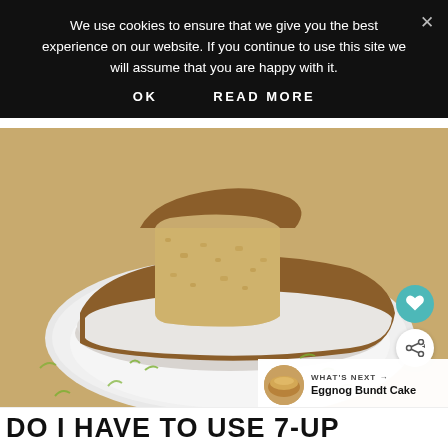We use cookies to ensure that we give you the best experience on our website. If you continue to use this site we will assume that you are happy with it.
OK   READ MORE
[Figure (photo): A slice of bundt cake with white glaze on a white plate, garnished with lime zest, placed on a yellow fabric background]
WHAT'S NEXT → Eggnog Bundt Cake
DO I HAVE TO USE 7-UP